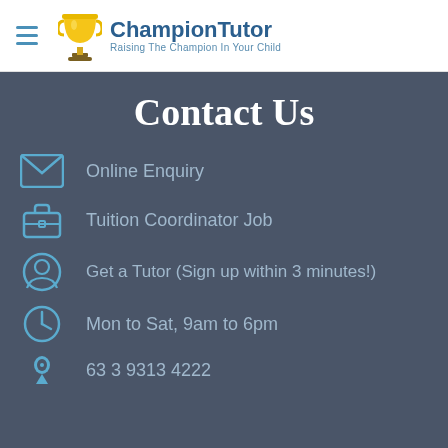ChampionTutor — Raising The Champion In Your Child
Contact Us
Online Enquiry
Tuition Coordinator Job
Get a Tutor (Sign up within 3 minutes!)
Mon to Sat, 9am to 6pm
63 3 9313 4222